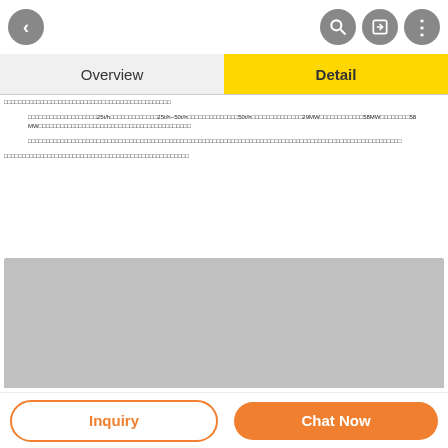< [back] [search] [share] [menu]
Overview | Detail
□□□□□□□□□□□□□□□□□□□□□□□□□□□□□□□□□□□□□□□□□□□□□□
□□□□□□□□□□□□□□□□□□□25t/h□□□□□□□□□□□□□25t/h~50t/h□□□□□□□□□□□□□□50t/h□□□□□□□□□□□□□□29MW□□□□□□□□58MW□□□□□□□□58MW□□□□□□□□□□□□□□□□□□□□□□□□□□□□□□□□□□□□□□□□□□
□□□□□□□□□□□□□□□□□□□□□□□□□□□□□□□□□□□□□□□□□□□□□□□□□□□□□□□□□□□□□□□□□□□□□□□□□□□□□□□□□□□□□□□□□□□□□□□□□□□□□□□
□□□□□□□□□□□□□□□□□□□□□□□□□□□□□□□□□□□□□□□□□□□□□□□□□□□
[Figure (photo): Gray placeholder image]
Inquiry | Chat Now